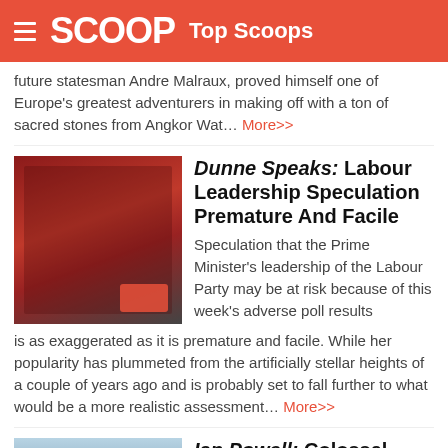SCOOP Top Scoops
future statesman Andre Malraux, proved himself one of Europe's greatest adventurers in making off with a ton of sacred stones from Angkor Wat… More>>
Dunne Speaks: Labour Leadership Speculation Premature And Facile
Speculation that the Prime Minister's leadership of the Labour Party may be at risk because of this week's adverse poll results is as exaggerated as it is premature and facile. While her popularity has plummeted from the artificially stellar heights of a couple of years ago and is probably set to fall further to what would be a more realistic assessment… More>>
Ian Powell: Colossal 'Porkies' And Band-aids Don't Make A